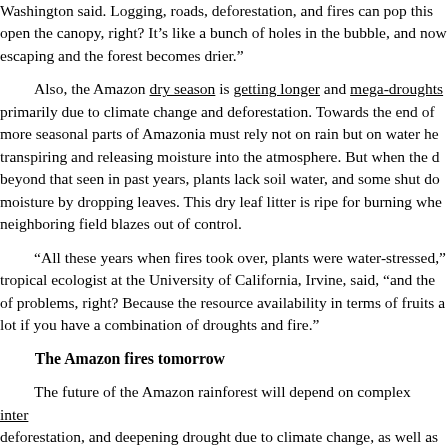Washington said. Logging, roads, deforestation, and fires can pop this open the canopy, right? It’s like a bunch of holes in the bubble, and now escaping and the forest becomes drier.”
Also, the Amazon dry season is getting longer and mega-droughts primarily due to climate change and deforestation. Towards the end of more seasonal parts of Amazonia must rely not on rain but on water he transpiring and releasing moisture into the atmosphere. But when the d beyond that seen in past years, plants lack soil water, and some shut do moisture by dropping leaves. This dry leaf litter is ripe for burning whe neighboring field blazes out of control.
“All these years when fires took over, plants were water-stressed,” tropical ecologist at the University of California, Irvine, said, “and the of problems, right? Because the resource availability in terms of fruits a lot if you have a combination of droughts and fire.”
The Amazon fires tomorrow
The future of the Amazon rainforest will depend on complex intera deforestation, and deepening drought due to climate change, as well as
Some scientists warn that the Amazon is nearing a tipping point, w diminishes until the rainforest transitions into a “derived-savannah.” H savannah, which is a highly diverse and functioning system, a severely look more like, “a very impoverished [ecological] system, less diverse